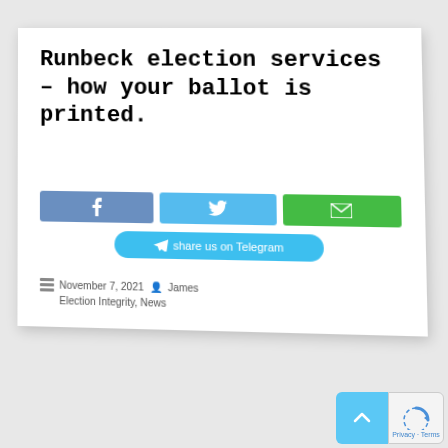Runbeck election services – how your ballot is printed.
[Figure (screenshot): Social share buttons: Facebook (blue), Twitter (light blue), Email (green), and Telegram (cyan rounded button)]
November 7, 2021  James  Election Integrity, News